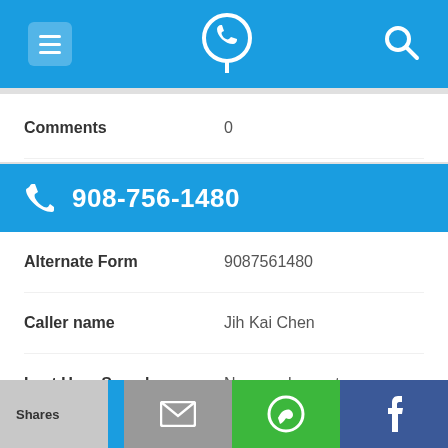[Figure (screenshot): App top navigation bar with menu (hamburger), phone locator icon, and search icon on blue background]
| Comments | 0 |
[Figure (screenshot): Blue bar showing phone number 908-756-1480 with phone icon]
| Alternate Form | 9087561480 |
| Caller name | Jih Kai Chen |
| Last User Search | No searches yet |
| Comments | 0 |
[Figure (screenshot): Bottom sharing bar with Shares, email, WhatsApp, and Facebook buttons]